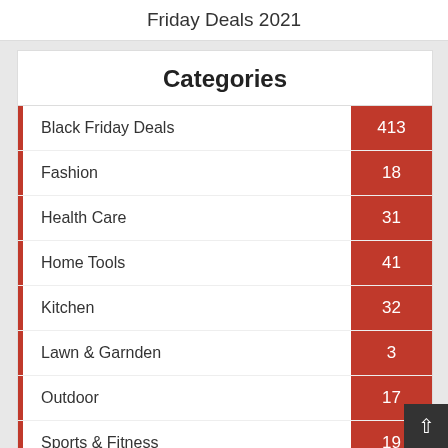Friday Deals 2021
Categories
Black Friday Deals  413
Fashion  18
Health Care  31
Home Tools  41
Kitchen  32
Lawn & Garnden  3
Outdoor  17
Sports & Fitness  19
Tech Gadgets  219